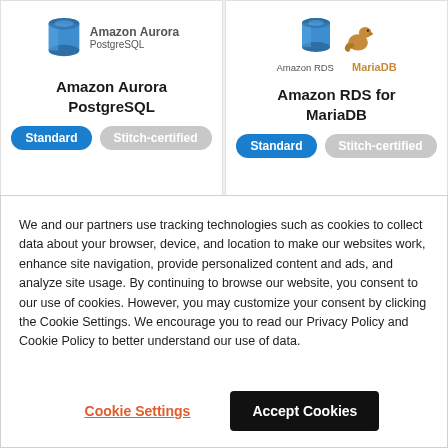[Figure (logo): Amazon Aurora PostgreSQL logo — blue cylinder/shield icon with text 'Amazon Aurora PostgreSQL']
Amazon Aurora PostgreSQL
[Figure (logo): Amazon RDS for MariaDB logo — blue AWS cylinder icon and brown MariaDB seal logo]
Amazon RDS for MariaDB
We and our partners use tracking technologies such as cookies to collect data about your browser, device, and location to make our websites work, enhance site navigation, provide personalized content and ads, and analyze site usage. By continuing to browse our website, you consent to our use of cookies. However, you may customize your consent by clicking the Cookie Settings. We encourage you to read our Privacy Policy and Cookie Policy to better understand our use of data.
Cookie Settings
Accept Cookies